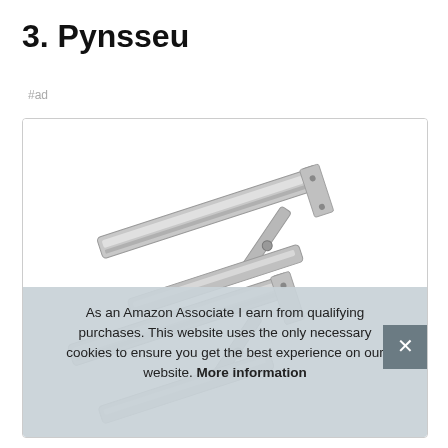3. Pynsseu
#ad
[Figure (photo): Two stainless steel folding shelf brackets shown extended, photographed against a white background.]
As an Amazon Associate I earn from qualifying purchases. This website uses the only necessary cookies to ensure you get the best experience on our website. More information